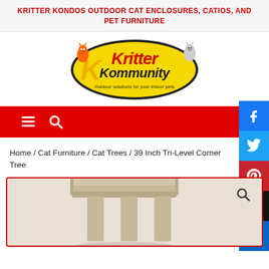KRITTER KONDOS OUTDOOR CAT ENCLOSURES, CATIOS, AND PET FURNITURE
[Figure (logo): Kritter Kommunity logo - yellow oval with cartoon cats and text 'Outdoor solutions for your indoor pets']
[Figure (screenshot): Red navigation bar with hamburger menu icon and search icon]
[Figure (infographic): Social media sidebar buttons: Facebook, Twitter, Pinterest, Instagram, LinkedIn]
Home / Cat Furniture / Cat Trees / 39 Inch Tri-Level Corner Tree
[Figure (photo): 39 Inch Tri-Level Corner Cat Tree with beige/tan carpet covering, showing top platform and support posts, with a magnifying glass/search icon overlay]